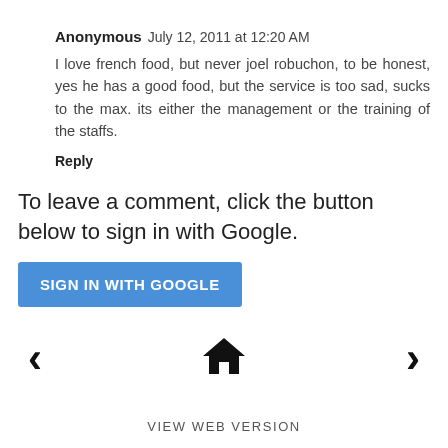Anonymous  July 12, 2011 at 12:20 AM
I love french food, but never joel robuchon, to be honest, yes he has a good food, but the service is too sad, sucks to the max. its either the management or the training of the staffs.
Reply
To leave a comment, click the button below to sign in with Google.
[Figure (other): Blue button labeled SIGN IN WITH GOOGLE]
[Figure (other): Navigation bar with left arrow, home icon, and right arrow]
VIEW WEB VERSION